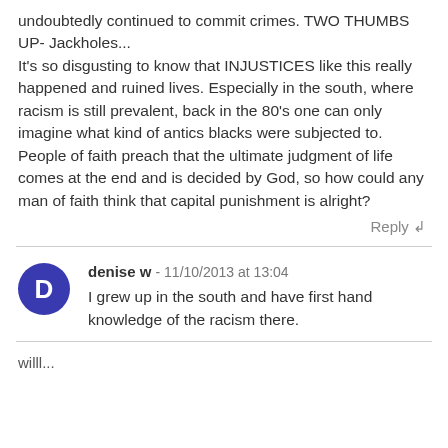undoubtedly continued to commit crimes. TWO THUMBS UP- Jackholes...
It's so disgusting to know that INJUSTICES like this really happened and ruined lives. Especially in the south, where racism is still prevalent, back in the 80's one can only imagine what kind of antics blacks were subjected to. People of faith preach that the ultimate judgment of life comes at the end and is decided by God, so how could any man of faith think that capital punishment is alright?
Reply ↲
denise w - 11/10/2013 at 13:04
I grew up in the south and have first hand knowledge of the racism there.
willl...